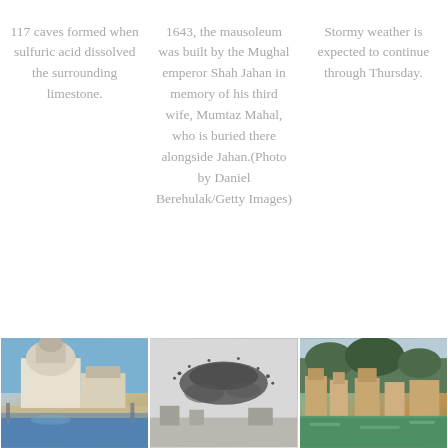117 caves formed when sulfuric acid dissolved the surrounding limestone.
1643, the mausoleum was built by the Mughal emperor Shah Jahan in memory of his third wife, Mumtaz Mahal, who is buried there alongside Jahan.(Photo by Daniel Berehulak/Getty Images)
Stormy weather is expected to continue through Thursday.
[Figure (photo): Architectural photo of Venice with domed buildings and waterfront]
[Figure (photo): Bird murmuration forming a large swirling shape in the sky]
[Figure (photo): Scenic view of Fenghuang ancient town with green river and traditional buildings]